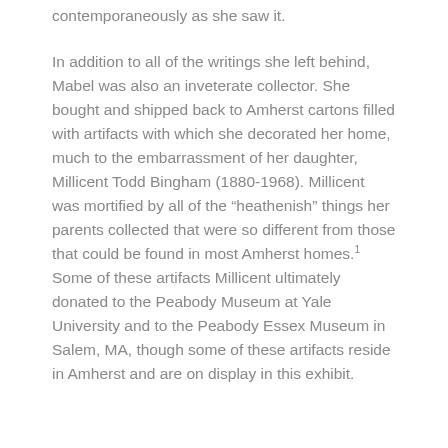contemporaneously as she saw it.
In addition to all of the writings she left behind, Mabel was also an inveterate collector. She bought and shipped back to Amherst cartons filled with artifacts with which she decorated her home, much to the embarrassment of her daughter, Millicent Todd Bingham (1880-1968). Millicent was mortified by all of the “heathenish” things her parents collected that were so different from those that could be found in most Amherst homes.¹ Some of these artifacts Millicent ultimately donated to the Peabody Museum at Yale University and to the Peabody Essex Museum in Salem, MA, though some of these artifacts reside in Amherst and are on display in this exhibit.